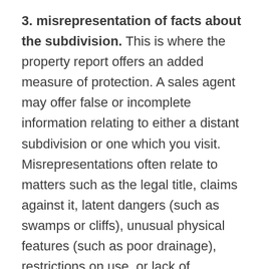3. misrepresentation of facts about the subdivision. This is where the property report offers an added measure of protection. A sales agent may offer false or incomplete information relating to either a distant subdivision or one which you visit. Misrepresentations often relate to matters such as the legal title, claims against it, latent dangers (such as swamps or cliffs), unusual physical features (such as poor drainage), restrictions on use, or lack of necessary facilities and utilities. Read the property report carefully with an eye to omissions, generalizations, or unproved statements that may tend to mislead you. If